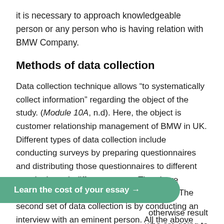it is necessary to approach knowledgeable person or any person who is having relation with BMW Company.
Methods of data collection
Data collection technique allows “to systematically collect information” regarding the object of the study. (Module 10A, n.d). Here, the object is customer relationship management of BMW in UK. Different types of data collection include conducting surveys by preparing questionnaires and distributing those questionnaires to different people through different means. The above mentioned is the first set of data collection. The second set of data collection is by conducting an interview with an eminent person. All the above sets of data collection require taking consent from the people who are going to otherwise result
Learn the cost of your essay →